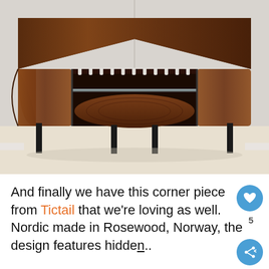[Figure (photo): A mid-century modern corner cabinet/bar made of dark rosewood with black tapered legs and an oval lower shelf with glass panel and wine glass holder on top, placed in a room corner with white walls and light floor.]
And finally we have this corner piece from Tictail that we're loving as well. Nordic made in Rosewood, Norway, the design features hidden...